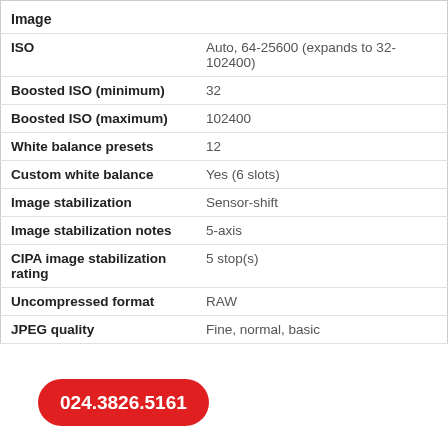| Feature | Value |
| --- | --- |
| Image |  |
| ISO | Auto, 64-25600 (expands to 32-102400) |
| Boosted ISO (minimum) | 32 |
| Boosted ISO (maximum) | 102400 |
| White balance presets | 12 |
| Custom white balance | Yes (6 slots) |
| Image stabilization | Sensor-shift |
| Image stabilization notes | 5-axis |
| CIPA image stabilization rating | 5 stop(s) |
| Uncompressed format | RAW |
| JPEG quality | Fine, normal, basic |
024.3826.5161